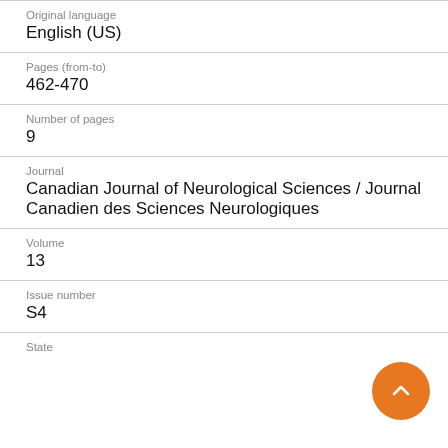Original language
English (US)
Pages (from-to)
462-470
Number of pages
9
Journal
Canadian Journal of Neurological Sciences / Journal Canadien des Sciences Neurologiques
Volume
13
Issue number
S4
State